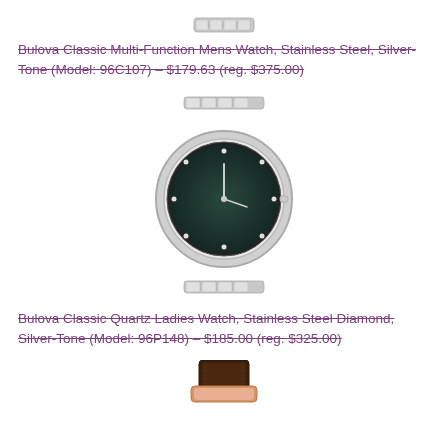[Figure (photo): Top portion of a Bulova Classic Multi-Function Mens Watch with stainless steel bracelet, silver-tone, cropped at top]
Bulova Classic Multi-Function Mens Watch, Stainless Steel, Silver-Tone (Model: 96C107) - $179.63 (reg. $375.00)
[Figure (photo): Bulova Classic Quartz Ladies Watch with round dark face and stainless steel diamond bracelet, silver-tone]
Bulova Classic Quartz Ladies Watch, Stainless Steel Diamond, Silver-Tone (Model: 96P148) - $185.00 (reg. $325.00)
[Figure (photo): Bottom portion of a Bulova watch with dark brown leather strap and rose gold case, partially visible at bottom of page]